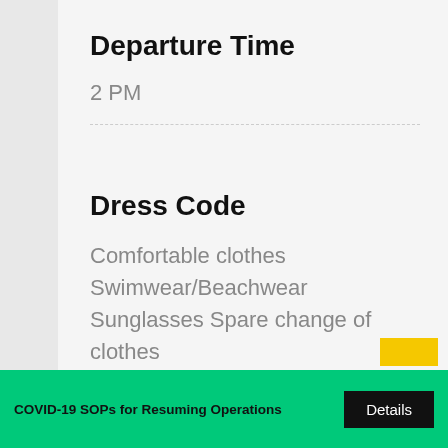Departure Time
2 PM
Dress Code
Comfortable clothes
Swimwear/Beachwear
Sunglasses Spare change of clothes
COVID-19 SOPs for Resuming Operations  Details